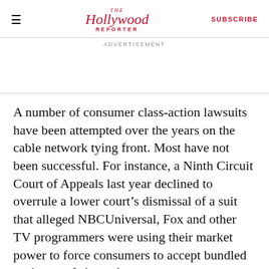The Hollywood Reporter | SUBSCRIBE
ADVERTISEMENT
A number of consumer class-action lawsuits have been attempted over the years on the cable network tying front. Most have not been successful. For instance, a Ninth Circuit Court of Appeals last year declined to overrule a lower court's dismissal of a suit that alleged NBCUniversal, Fox and other TV programmers were using their market power to force consumers to accept bundled packages of channels.
“Tying arrangements, without more, do not